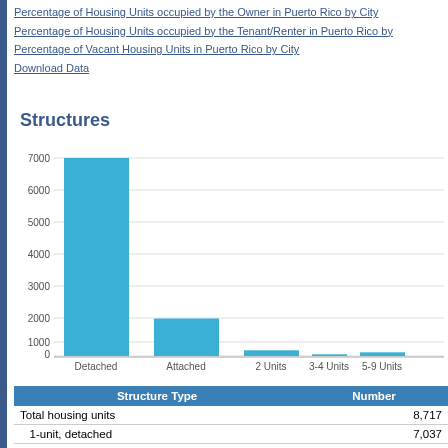Percentage of Housing Units occupied by the Owner in Puerto Rico by City
Percentage of Housing Units occupied by the Tenant/Renter in Puerto Rico by
Percentage of Vacant Housing Units in Puerto Rico by City
Download Data
Structures
[Figure (bar-chart): Structures]
| Structure Type | Number |
| --- | --- |
| Total housing units | 8,717 |
| 1-unit, detached | 7,037 |